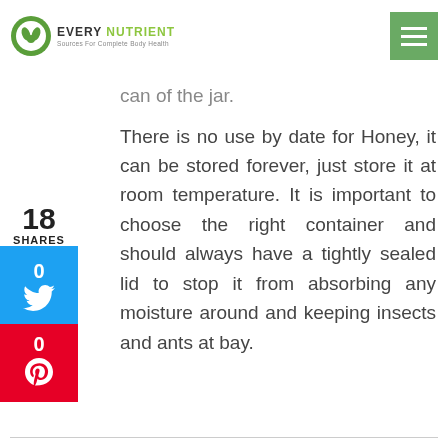EVERY NUTRIENT - Sources For Complete Body Health
can of the jar.
There is no use by date for Honey, it can be stored forever, just store it at room temperature. It is important to choose the right container and should always have a tightly sealed lid to stop it from absorbing any moisture around and keeping insects and ants at bay.